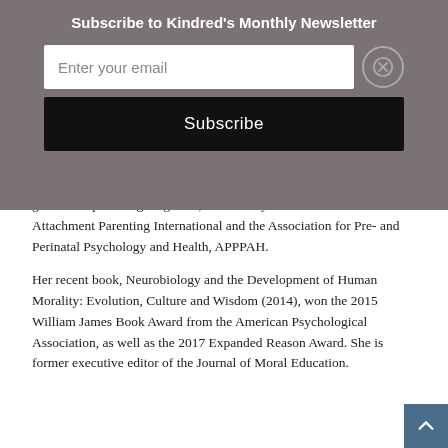Subscribe to Kindred's Monthly Newsletter
Enter your email
Subscribe
global eco-parenting magazine, an advisory board member of Attachment Parenting International and the Association for Pre- and Perinatal Psychology and Health, APPPAH.
Her recent book, Neurobiology and the Development of Human Morality: Evolution, Culture and Wisdom (2014), won the 2015 William James Book Award from the American Psychological Association, as well as the 2017 Expanded Reason Award. She is former executive editor of the Journal of Moral Education.